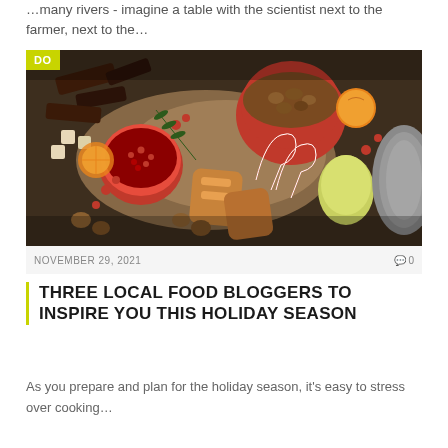…many rivers - imagine a table with the scientist next to the farmer, next to the…
[Figure (photo): Overhead shot of a holiday charcuterie board with pomegranate, candy canes, chocolate, nuts, dried fruits, and rosemary on a dark tray. Yellow 'DO' badge in top-left corner.]
NOVEMBER 29, 2021   💬 0
THREE LOCAL FOOD BLOGGERS TO INSPIRE YOU THIS HOLIDAY SEASON
As you prepare and plan for the holiday season, it's easy to stress over cooking…